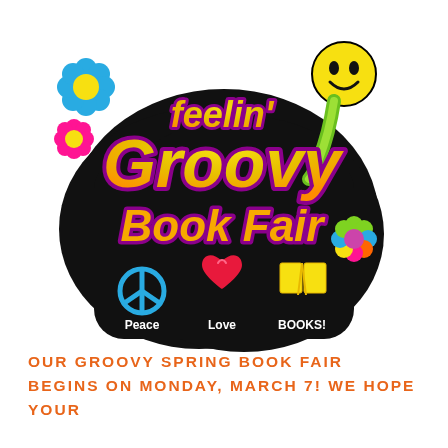[Figure (logo): Feelin' Groovy Book Fair logo: colorful retro 1970s style logo with bubble letters spelling 'feelin' Groovy Book Fair' in yellow/orange with purple outline on a black background, decorated with colorful flowers, a yellow smiley face, peace symbol, red heart, and open yellow book, with text 'Peace Love BOOKS!' at the bottom]
OUR GROOVY SPRING BOOK FAIR BEGINS ON MONDAY, MARCH 7! WE HOPE YOUR